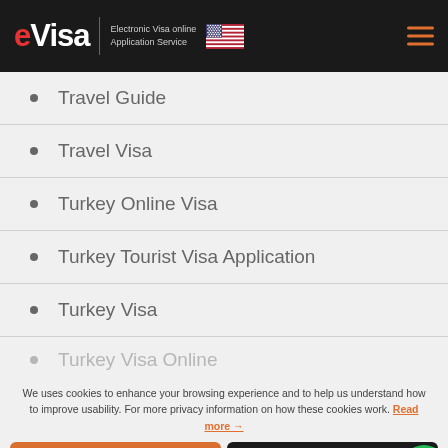eVisa — Electronic Visa online Application Service
Travel Guide
Travel Visa
Turkey Online Visa
Turkey Tourist Visa Application
Turkey Visa
Turkey Visa Online
We uses cookies to enhance your browsing experience and to help us understand how to improve usability. For more privacy information on how these cookies work. Read more →
✓ Got It! | Settings